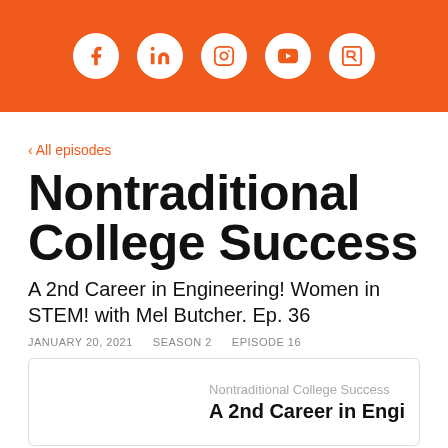[Figure (other): Orange header bar with five social media icons (Facebook, LinkedIn, Instagram, YouTube, and a fifth icon) displayed as white circles on an orange background.]
‹ All episodes
Nontraditional College Success
A 2nd Career in Engineering! Women in STEM! with Mel Butcher. Ep. 36
JANUARY 20, 2021    SEASON 2    EPISODE 16
[Figure (screenshot): Podcast player card showing 'Nontraditional College Success' and 'A 2nd Career in Engi...' title, partially clipped on the right side.]